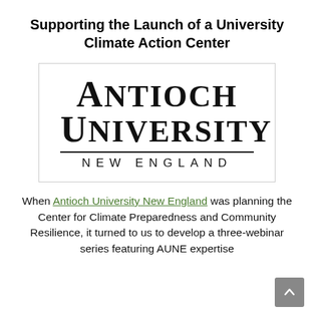Supporting the Launch of a University Climate Action Center
[Figure (logo): Antioch University New England logo — large serif text reading 'ANTIOCH UNIVERSITY' with 'NEW ENGLAND' below in spaced sans-serif capitals]
When Antioch University New England was planning the Center for Climate Preparedness and Community Resilience, it turned to us to develop a three-webinar series featuring AUNE expertise